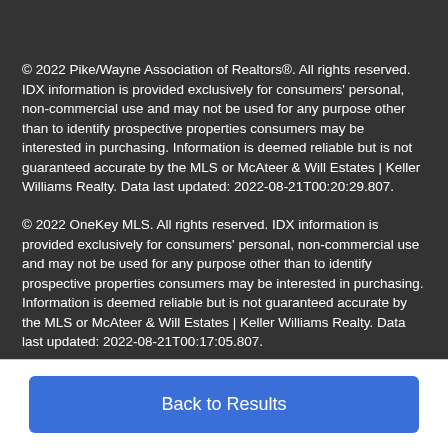© 2022 Pike/Wayne Association of Realtors®. All rights reserved. IDX information is provided exclusively for consumers' personal, non-commercial use and may not be used for any purpose other than to identify prospective properties consumers may be interested in purchasing. Information is deemed reliable but is not guaranteed accurate by the MLS or McAteer & Will Estates | Keller Williams Realty. Data last updated: 2022-08-21T00:20:29.807.
© 2022 OneKey MLS. All rights reserved. IDX information is provided exclusively for consumers' personal, non-commercial use and may not be used for any purpose other than to identify prospective properties consumers may be interested in purchasing. Information is deemed reliable but is not guaranteed accurate by the MLS or McAteer & Will Estates | Keller Williams Realty. Data last updated: 2022-08-21T00:17:05.807.
Back to Results